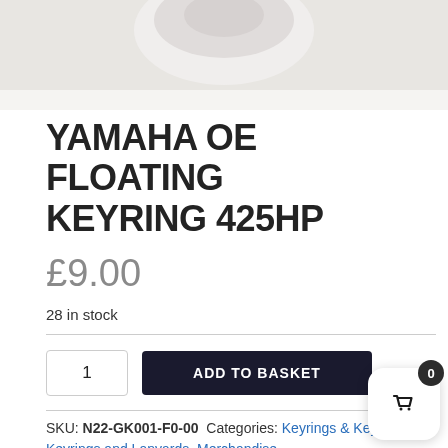[Figure (photo): Partial view of a Yamaha OE floating keyring product on a light grey/white background, cropped at top]
YAMAHA OE FLOATING KEYRING 425HP
£9.00
28 in stock
ADD TO BASKET
SKU: N22-GK001-F0-00 Categories: Keyrings & Keyfobs, Keyrings and Lanyards, Merchandise